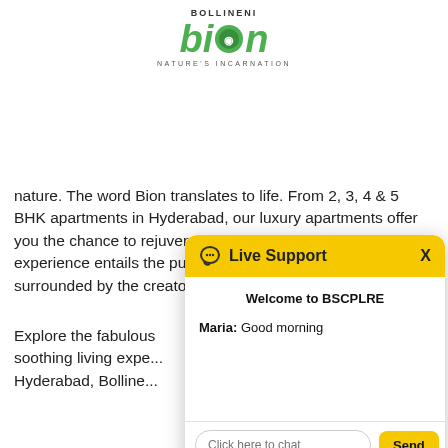[Figure (logo): Bollineni Bion logo with green text, leaf/globe icon, and tagline NATURE'S INCARNATION]
nature. The word Bion translates to life. From 2, 3, 4 & 5 BHK apartments in Hyderabad, our luxury apartments offer you the chance to rejuvenate your body, soul and mind. The experience entails the purity of living in apartments surrounded by the creator and nurturer of all, i.e., nature.
Explore the fabulous soothing living experience. Hyderabad, Bolline...
[Figure (screenshot): Live Support chat widget with yellow header showing 'Live Support' title and X close button, chat body with 'Welcome to BSCPLRE' heading and message 'Maria: Good morning', and input area with 'Click here to chat' placeholder and yellow Send button]